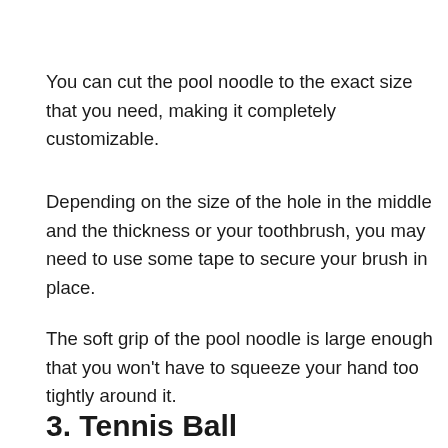You can cut the pool noodle to the exact size that you need, making it completely customizable.
Depending on the size of the hole in the middle and the thickness or your toothbrush, you may need to use some tape to secure your brush in place.
The soft grip of the pool noodle is large enough that you won't have to squeeze your hand too tightly around it.
3. Tennis Ball